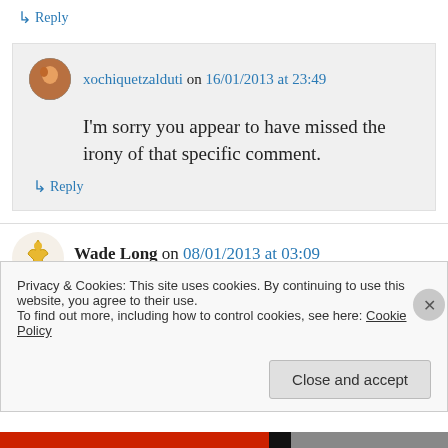↳ Reply
xochiquetzalduti on 16/01/2013 at 23:49
I'm sorry you appear to have missed the irony of that specific comment.
↳ Reply
Wade Long on 08/01/2013 at 03:09
Privacy & Cookies: This site uses cookies. By continuing to use this website, you agree to their use.
To find out more, including how to control cookies, see here: Cookie Policy
Close and accept